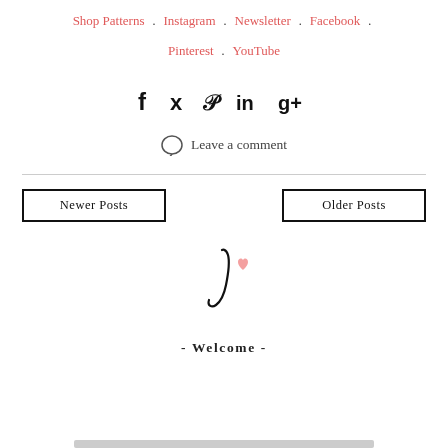Shop Patterns . Instagram . Newsletter . Facebook . Pinterest . YouTube
[Figure (infographic): Social media share icons: f (Facebook), bird (Twitter), p (Pinterest), in (LinkedIn), g+ (Google+)]
Leave a comment
Newer Posts
Older Posts
[Figure (illustration): Cursive script signature letter J with a small pink heart]
- Welcome -